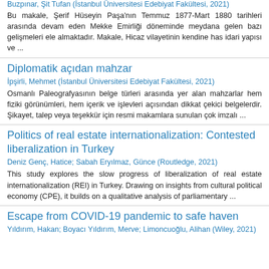Buzpınar, Şit Tufan (İstanbul Üniversitesi Edebiyat Fakültesi, 2021)
Bu makale, Şerif Hüseyin Paşa'nın Temmuz 1877-Mart 1880 tarihleri arasında devam eden Mekke Emirliği döneminde meydana gelen bazı gelişmeleri ele almaktadır. Makale, Hicaz vilayetinin kendine has idari yapısı ve ...
Diplomatik açıdan mahzar
İpşirli, Mehmet (İstanbul Üniversitesi Edebiyat Fakültesi, 2021)
Osmanlı Paleografyasının belge türleri arasında yer alan mahzarlar hem fiziki görünümleri, hem içerik ve işlevleri açısından dikkat çekici belgelerdir. Şikayet, talep veya teşekkür için resmi makamlara sunulan çok imzalı ...
Politics of real estate internationalization: Contested liberalization in Turkey
Deniz Genç, Hatice; Sabah Eryılmaz, Günce (Routledge, 2021)
This study explores the slow progress of liberalization of real estate internationalization (REI) in Turkey. Drawing on insights from cultural political economy (CPE), it builds on a qualitative analysis of parliamentary ...
Escape from COVID-19 pandemic to safe haven
Yıldırım, Hakan; Boyacı Yıldırım, Merve; Limoncuoğlu, Alihan (Wiley, 2021)